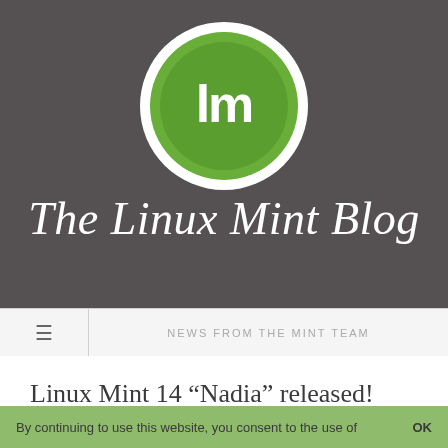[Figure (logo): Linux Mint logo - green circle with white 'lm' letters inside, set on dark gray background]
The Linux Mint Blog
NEWS FROM THE MINT TEAM
Linux Mint 14 “Nadia” released!
By continuing to use this website, you consent to the use of   OK